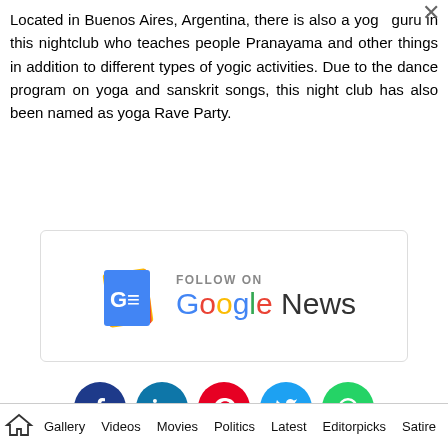Located in Buenos Aires, Argentina, there is also a yoga guru in this nightclub who teaches people Pranayama and other things in addition to different types of yogic activities. Due to the dance program on yoga and sanskrit songs, this night club has also been named as yoga Rave Party.
[Figure (logo): Follow on Google News banner with Google News logo icon and text]
[Figure (infographic): Row of social media share buttons: Facebook, LinkedIn, Pinterest, Twitter, WhatsApp]
Gallery  Videos  Movies  Politics  Latest  Editorpicks  Satire